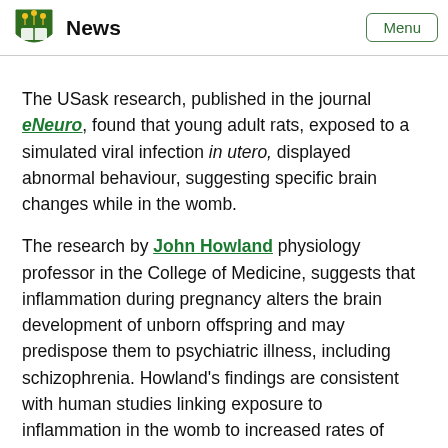News | Menu
The USask research, published in the journal eNeuro, found that young adult rats, exposed to a simulated viral infection in utero, displayed abnormal behaviour, suggesting specific brain changes while in the womb.
The research by John Howland physiology professor in the College of Medicine, suggests that inflammation during pregnancy alters the brain development of unborn offspring and may predispose them to psychiatric illness, including schizophrenia. Howland's findings are consistent with human studies linking exposure to inflammation in the womb to increased rates of psychiatric disorders including schizophrenia and autism.
Previous studies have found that babies whose